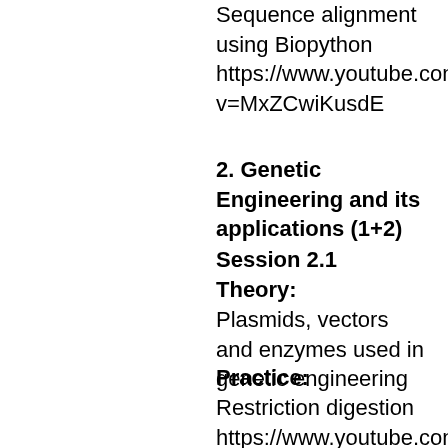Sequence alignment using Biopython https://www.youtube.com/watch?v=MxZCwiKusdE
2. Genetic Engineering and its applications (1+2)
Session 2.1
Theory:
Plasmids, vectors and enzymes used in genetic engineering
Practice:
Restriction digestion https://www.youtube.com/watch?v=GNMJBMtKKWU
https://www.youtube.com/watch?v=...